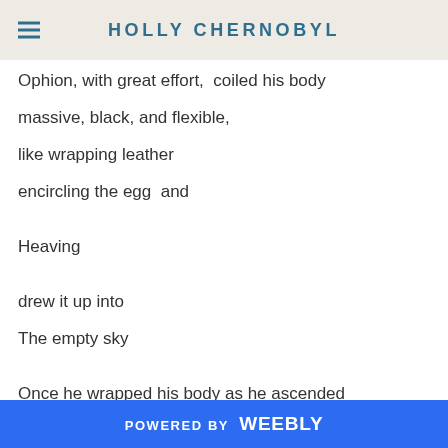HOLLY CHERNOBYL
Ophion, with great effort,  coiled his body
massive, black, and flexible,
like wrapping leather
encircling the egg  and
Heaving
drew it up into
The empty sky
Once he wrapped his body as he ascended
Again he wrapped his body
POWERED BY weebly